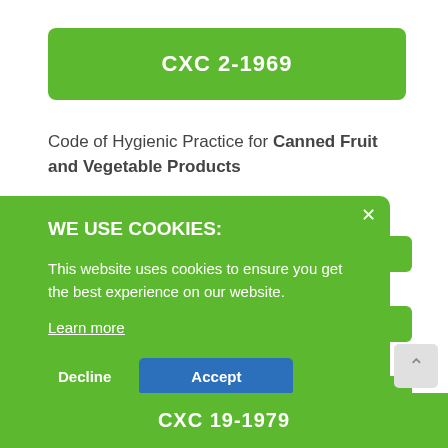CXC 2-1969
Code of Hygienic Practice for Canned Fruit and Vegetable Products
WE USE COOKIES:
This website uses cookies to ensure you get the best experience on our website.
Learn more
Decline
Accept
CXC 19-1979